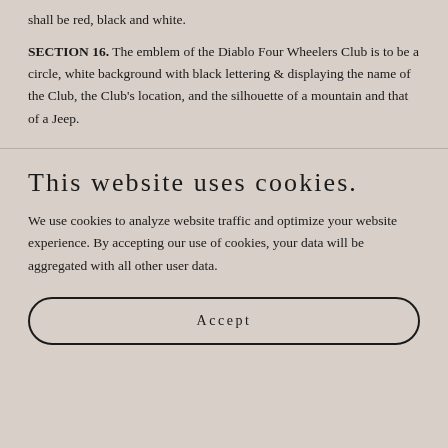shall be red, black and white.
SECTION 16. The emblem of the Diablo Four Wheelers Club is to be a circle, white background with black lettering & displaying the name of the Club, the Club's location, and the silhouette of a mountain and that of a Jeep.
This website uses cookies.
We use cookies to analyze website traffic and optimize your website experience. By accepting our use of cookies, your data will be aggregated with all other user data.
Accept